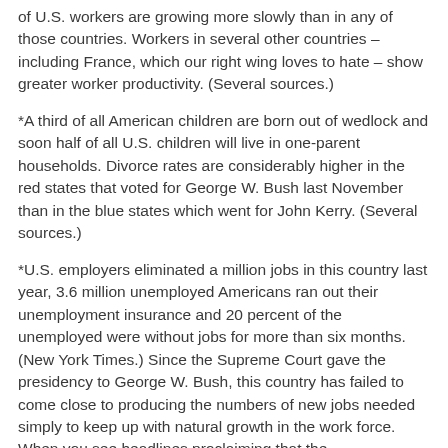of U.S. workers are growing more slowly than in any of those countries. Workers in several other countries – including France, which our right wing loves to hate – show greater worker productivity. (Several sources.)
*A third of all American children are born out of wedlock and soon half of all U.S. children will live in one-parent households. Divorce rates are considerably higher in the red states that voted for George W. Bush last November than in the blue states which went for John Kerry. (Several sources.)
*U.S. employers eliminated a million jobs in this country last year, 3.6 million unemployed Americans ran out their unemployment insurance and 20 percent of the unemployed were without jobs for more than six months. (New York Times.) Since the Supreme Court gave the presidency to George W. Bush, this country has failed to come close to producing the numbers of new jobs needed simply to keep up with natural growth in the work force. When you see headlines proclaiming that the unemployment rate has fallen, it simply means that more people have given up trying to find work. The United States lost 1.3 million jobs to China in the